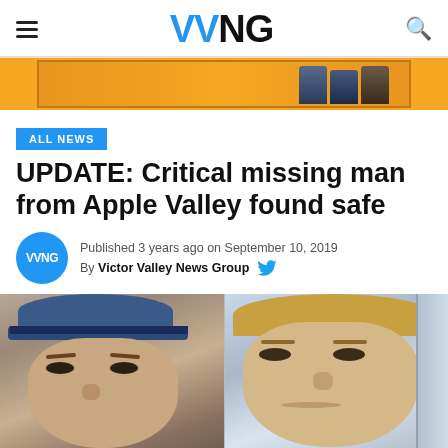VVNG
[Figure (photo): Advertisement banner with people in dark clothing on orange background]
ALL NEWS
UPDATE: Critical missing man from Apple Valley found safe
Published 3 years ago on September 10, 2019
By Victor Valley News Group
[Figure (photo): Two side-by-side photos of a man: left shows him wearing a blue cap, right shows him without a cap with blonde hair]